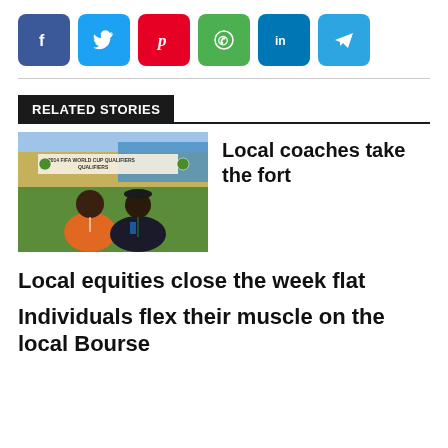[Figure (other): Social sharing buttons: Facebook (f), Twitter (bird), Pinterest (p), WhatsApp, LinkedIn (in), Telegram]
RELATED STORIES
[Figure (photo): Two men at a football/soccer stadium sideline, banner reads '2014 FIFA WORLD CUP QUALIFIERS']
Local coaches take the fort
Local equities close the week flat
Individuals flex their muscle on the local Bourse